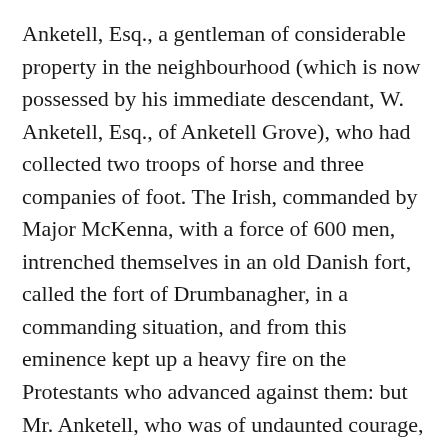Anketell, Esq., a gentleman of considerable property in the neighbourhood (which is now possessed by his immediate descendant, W. Anketell, Esq., of Anketell Grove), who had collected two troops of horse and three companies of foot. The Irish, commanded by Major McKenna, with a force of 600 men, intrenched themselves in an old Danish fort, called the fort of Drumbanagher, in a commanding situation, and from this eminence kept up a heavy fire on the Protestants who advanced against them: but Mr. Anketell, who was of undaunted courage, burst into the fort, at the head of his troops, routed and pursued the enemy with considerable slaughter, but